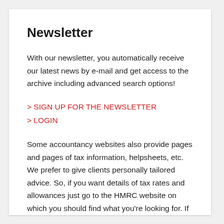Newsletter
With our newsletter, you automatically receive our latest news by e-mail and get access to the archive including advanced search options!
> SIGN UP FOR THE NEWSLETTER
> LOGIN
Some accountancy websites also provide pages and pages of tax information, helpsheets, etc. We prefer to give clients personally tailored advice. So, if you want details of tax rates and allowances just go to the HMRC website on which you should find what you're looking for. If you need more individual advice please contact